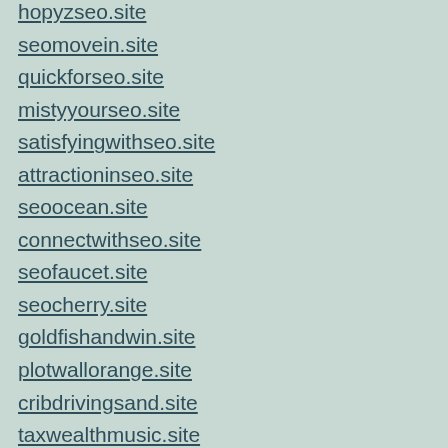hopyzseo.site
seomovein.site
quickforseo.site
mistyyourseo.site
satisfyingwithseo.site
attractioninseo.site
seoocean.site
connectwithseo.site
seofaucet.site
seocherry.site
goldfishandwin.site
plotwallorange.site
cribdrivingsand.site
taxwealthmusic.site